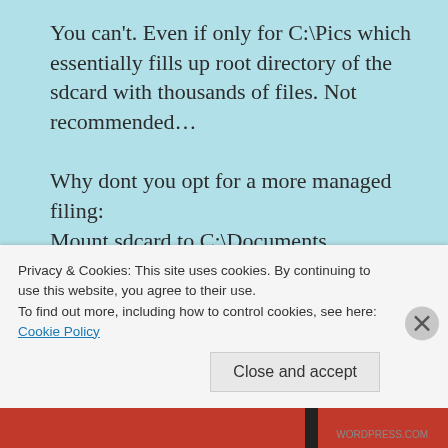You can't. Even if only for C:\Pics which essentially fills up root directory of the sdcard with thousands of files. Not recommended…

Why dont you opt for a more managed filing:
Mount sdcard to C:\Documents
Under that mount point, create Pics, Vids, whatever.
Reply
Privacy & Cookies: This site uses cookies. By continuing to use this website, you agree to their use.
To find out more, including how to control cookies, see here: Cookie Policy
Close and accept